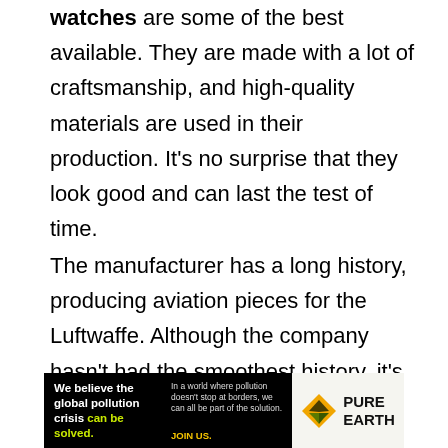watches are some of the best available. They are made with a lot of craftsmanship, and high-quality materials are used in their production. It's no surprise that they look good and can last the test of time.
The manufacturer has a long history, producing aviation pieces for the Luftwaffe. Although the company hasn't had the smoothest history, it's clear that they know what they're doing.
[Figure (other): Advertisement banner for Pure Earth. Black left panel reads: 'We believe the global pollution crisis can be solved.' with green text on 'can be solved.' Right side has small text 'In a world where pollution doesn't stop at borders, we can all be part of the solution. JOIN US.' and a yellow/green Pure Earth logo with the text PURE EARTH.]